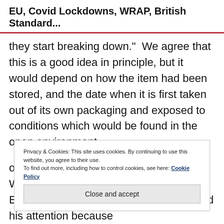EU, Covid Lockdowns, WRAP, British Standard...
they start breaking down.”  We agree that this is a good idea in principle, but it would depend on how the item had been stored, and the date when it is first taken out of its own packaging and exposed to conditions which would be found in the open environment.
Privacy & Cookies: This site uses cookies. By continuing to use this website, you agree to their use.
To find out more, including how to control cookies, see here: Cookie Policy
Close and accept
on the Environment Select Committee. When he left Parliament Symphony Environmental Technologies Plc. attracted his attention because